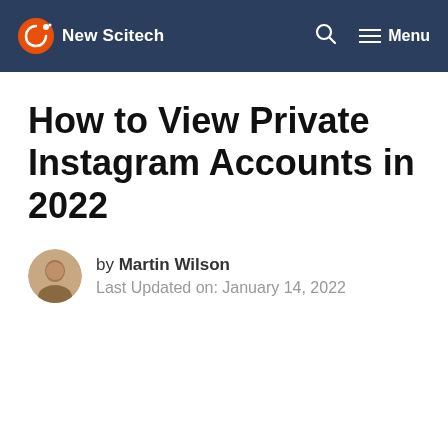New Scitech | Menu
How to View Private Instagram Accounts in 2022
by Martin Wilson
Last Updated on: January 14, 2022